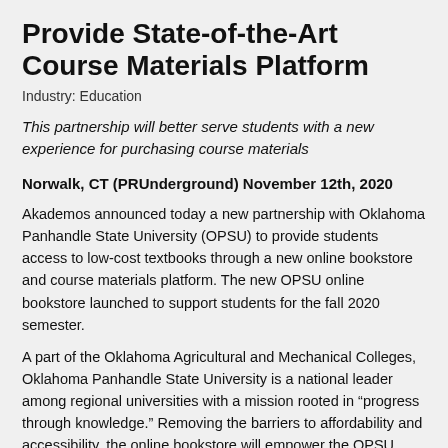Provide State-of-the-Art Course Materials Platform
Industry: Education
This partnership will better serve students with a new experience for purchasing course materials
Norwalk, CT (PRUnderground) November 12th, 2020
Akademos announced today a new partnership with Oklahoma Panhandle State University (OPSU) to provide students access to low-cost textbooks through a new online bookstore and course materials platform. The new OPSU online bookstore launched to support students for the fall 2020 semester.
A part of the Oklahoma Agricultural and Mechanical Colleges, Oklahoma Panhandle State University is a national leader among regional universities with a mission rooted in “progress through knowledge.” Removing the barriers to affordability and accessibility, the online bookstore will empower the OPSU community of students